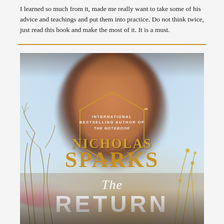I learned so much from it, made me really want to take some of his advice and teachings and put them into practice. Do not think twice, just read this book and make the most of it. It is a must.
[Figure (photo): Book cover of 'The Return' by Nicholas Sparks. Background shows a blurred couple embracing in a field with wildflowers and grass, warm golden-orange tones with blue sky. A gold hexagon outline frames text reading 'International Bestselling Author of The Notebook' above the author name 'Nicholas Sparks' in large gold letters, and the title 'The Return' in white at the bottom.]